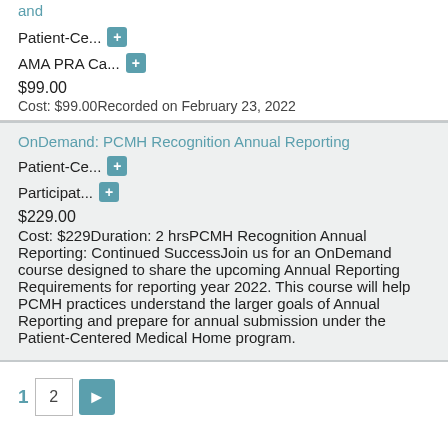and
Patient-Ce... [+]
AMA PRA Ca... [+]
$99.00
Cost: $99.00Recorded on February 23, 2022
OnDemand: PCMH Recognition Annual Reporting
Patient-Ce... [+]
Participat... [+]
$229.00
Cost: $229Duration: 2 hrsPCMH Recognition Annual Reporting: Continued SuccessJoin us for an OnDemand course designed to share the upcoming Annual Reporting Requirements for reporting year 2022. This course will help PCMH practices understand the larger goals of Annual Reporting and prepare for annual submission under the Patient-Centered Medical Home program.
1  2  ►